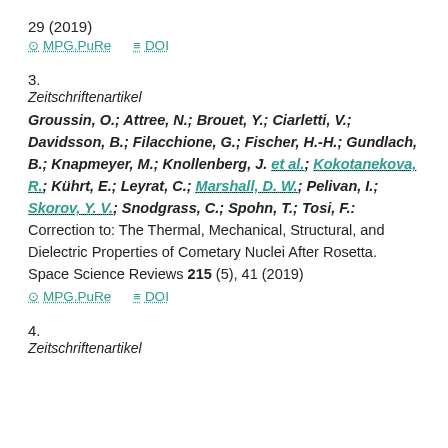29 (2019)
⊙ MPG.PuRe  ≡ DOI
3.
Zeitschriftenartikel
Groussin, O.; Attree, N.; Brouet, Y.; Ciarletti, V.; Davidsson, B.; Filacchione, G.; Fischer, H.-H.; Gundlach, B.; Knapmeyer, M.; Knollenberg, J. et al.; Kokotanekova, R.; Kührt, E.; Leyrat, C.; Marshall, D. W.; Pelivan, I.; Skorov, Y. V.; Snodgrass, C.; Spohn, T.; Tosi, F.: Correction to: The Thermal, Mechanical, Structural, and Dielectric Properties of Cometary Nuclei After Rosetta. Space Science Reviews 215 (5), 41 (2019)
⊙ MPG.PuRe  ≡ DOI
4.
Zeitschriftenartikel